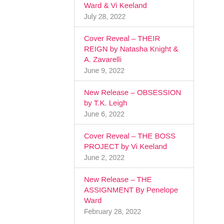Ward & Vi Keeland
July 28, 2022
Cover Reveal – THEIR REIGN by Natasha Knight & A. Zavarelli
June 9, 2022
New Release – OBSESSION by T.K. Leigh
June 6, 2022
Cover Reveal – THE BOSS PROJECT by Vi Keeland
June 2, 2022
New Release – THE ASSIGNMENT By Penelope Ward
February 28, 2022